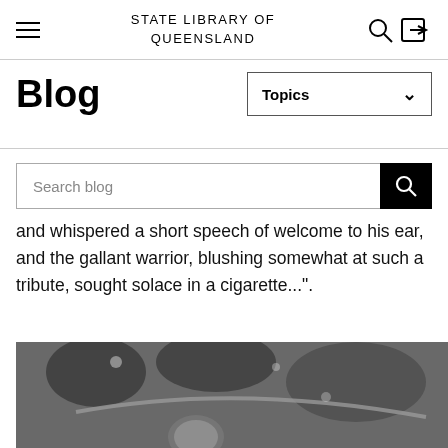STATE LIBRARY OF QUEENSLAND
Blog
and whispered a short speech of welcome to his ear, and the gallant warrior, blushing somewhat at such a tribute, sought solace in a cigarette...".
[Figure (photo): Black and white photograph, bottom portion visible, showing what appears to be mechanical or musical equipment in the background with a round object in the foreground.]